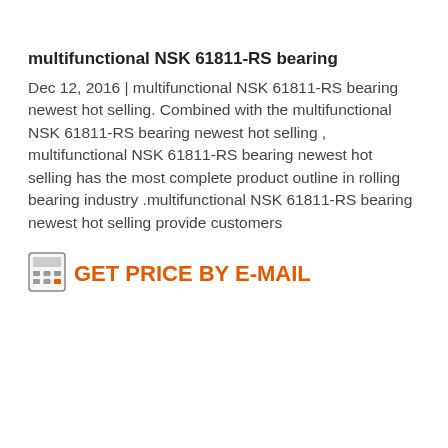multifunctional NSK 61811-RS bearing
Dec 12, 2016 | multifunctional NSK 61811-RS bearing newest hot selling. Combined with the multifunctional NSK 61811-RS bearing newest hot selling , multifunctional NSK 61811-RS bearing newest hot selling has the most complete product outline in rolling bearing industry .multifunctional NSK 61811-RS bearing newest hot selling provide customers
[Figure (other): Calculator icon]
GET PRICE BY E-MAIL